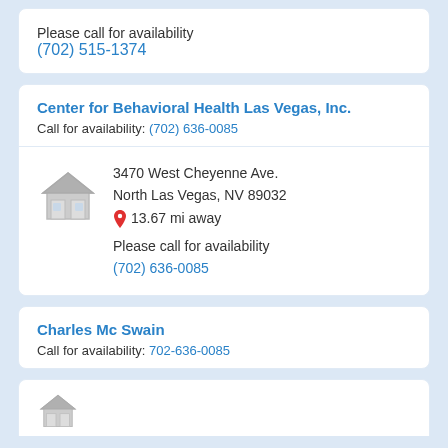Please call for availability
(702) 515-1374
Center for Behavioral Health Las Vegas, Inc.
Call for availability: (702) 636-0085
3470 West Cheyenne Ave. North Las Vegas, NV 89032 13.67 mi away Please call for availability (702) 636-0085
Charles Mc Swain
Call for availability: 702-636-0085